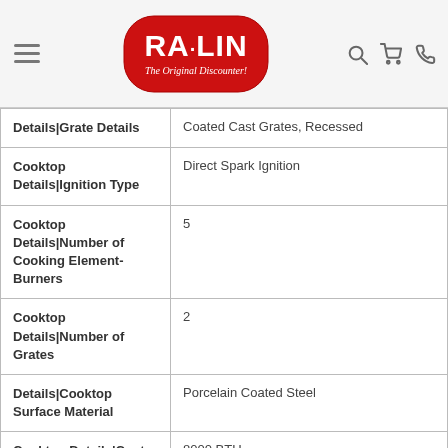[Figure (logo): RA-LIN The Original Discounter logo in red oval with white text]
| Details|Grate Details | Coated Cast Grates, Recessed |
| Cooktop Details|Ignition Type | Direct Spark Ignition |
| Cooktop Details|Number of Cooking Element-Burners | 5 |
| Cooktop Details|Number of Grates | 2 |
| Details|Cooktop Surface Material | Porcelain Coated Steel |
| Cooktop Details|Center Rear Element-Burner Power | 8000 BTU |